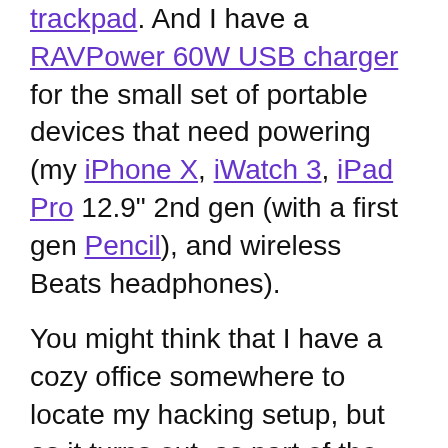trackpad. And I have a RAVPower 60W USB charger for the small set of portable devices that need powering (my iPhone X, iWatch 3, iPad Pro 12.9" 2nd gen (with a first gen Pencil), and wireless Beats headphones).
You might think that I have a cozy office somewhere to locate my hacking setup, but as it turns out, as part of the retirement planning, we renovated the house to turn it into a large aerial studio (don't ask unless you have time for a really long answer), so my desk is